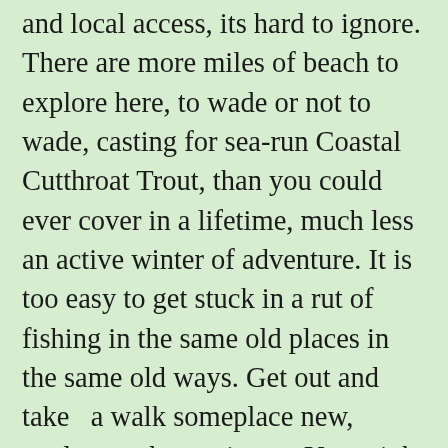and local access, its hard to ignore. There are more miles of beach to explore here, to wade or not to wade, casting for sea-run Coastal Cutthroat Trout, than you could ever cover in a lifetime, much less an active winter of adventure. It is too easy to get stuck in a rut of fishing in the same old places in the same old ways. Get out and take  a walk someplace new, explore and experiment. You might surprise yourself with another productive fishing spot or a new way of doing things. And you might beat the winter doldrums and flab too. Sea-runs move often, they rarely stay in one spot for more than one tide cycle, neither should you. So keep moving.